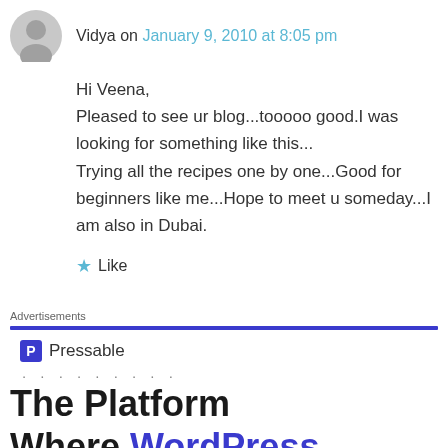Vidya on January 9, 2010 at 8:05 pm
Hi Veena,
Pleased to see ur blog...tooooo good.I was looking for something like this...
Trying all the recipes one by one...Good for beginners like me...Hope to meet u someday...I am also in Dubai.
★ Like
Advertisements
[Figure (logo): Pressable logo with blue P icon and dotted line below]
The Platform Where WordPress